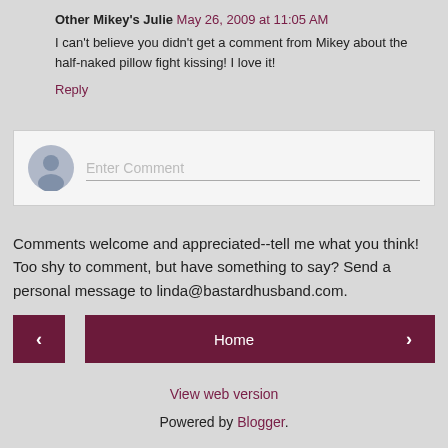Other Mikey's Julie  May 26, 2009 at 11:05 AM
I can't believe you didn't get a comment from Mikey about the half-naked pillow fight kissing! I love it!
Reply
[Figure (screenshot): Comment input box with avatar icon placeholder and 'Enter Comment' placeholder text]
Comments welcome and appreciated--tell me what you think! Too shy to comment, but have something to say? Send a personal message to linda@bastardhusband.com.
< | Home | >
View web version
Powered by Blogger.